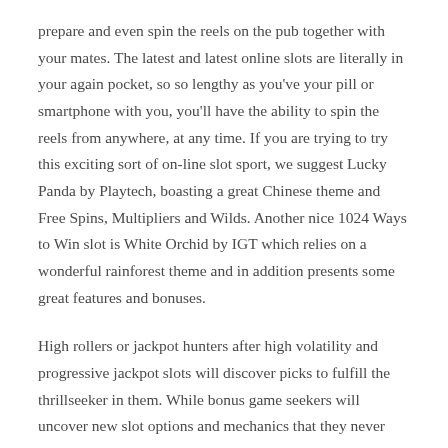prepare and even spin the reels on the pub together with your mates. The latest and latest online slots are literally in your again pocket, so so lengthy as you've your pill or smartphone with you, you'll have the ability to spin the reels from anywhere, at any time. If you are trying to try this exciting sort of on-line slot sport, we suggest Lucky Panda by Playtech, boasting a great Chinese theme and Free Spins, Multipliers and Wilds. Another nice 1024 Ways to Win slot is White Orchid by IGT which relies on a wonderful rainforest theme and in addition presents some great features and bonuses.
High rollers or jackpot hunters after high volatility and progressive jackpot slots will discover picks to fulfill the thrillseeker in them. While bonus game seekers will uncover new slot options and mechanics that they never thought attainable. ⇨ The simplest video games to play at an online casino are slots, as they solely require you to pick a bet size and press the spin button. The relaxation is all right down to pure